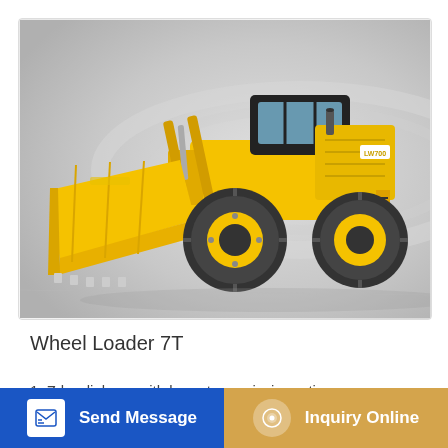[Figure (photo): Yellow wheel loader (7T) with large bucket raised, photographed on white/grey gradient background. The machine is yellow with black cab, large black rubber tires, and branded markings.]
Wheel Loader 7T
1  Z-bar linkage with large transmission ratio uses for i... force. 2, Heavy-duty wet type...
Send Message
Inquiry Online